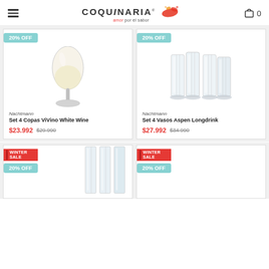Coquinaria - amor por el sabor
[Figure (photo): Product card: Nachtmann Set 4 Copas ViVino White Wine, 20% OFF badge, wine glass image, sale price $23.992, original $29.990]
[Figure (photo): Product card: Nachtmann Set 4 Vasos Aspen Longdrink, 20% OFF badge, tall crystal glasses image, sale price $27.992, original $34.990]
[Figure (photo): Product card bottom-left: Winter Sale + 20% OFF badge, glass image (partial)]
[Figure (photo): Product card bottom-right: Winter Sale + 20% OFF badge (partial)]